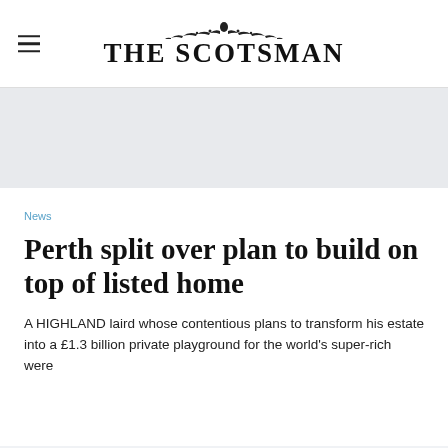THE SCOTSMAN
News
Perth split over plan to build on top of listed home
A HIGHLAND laird whose contentious plans to transform his estate into a £1.3 billion private playground for the world's super-rich were